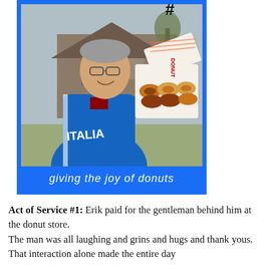[Figure (photo): A smiling man with glasses wearing a blue Italia jacket, holding an open box of donuts outside a suburban house. The photo is framed with a bright blue border. Below the photo, white italic text reads 'giving the joy of donuts'.]
Act of Service #1: Erik paid for the gentleman behind him at the donut store.
The man was all laughing and grins and hugs and thank yous.  That interaction alone made the entire day